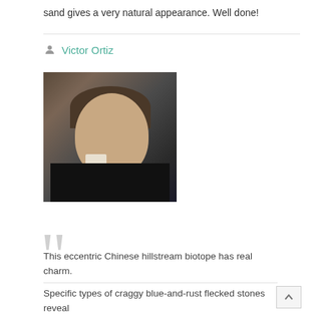sand gives a very natural appearance. Well done!
Victor Ortiz
[Figure (photo): Portrait photo of a middle-aged man with short dark hair and stubble beard, wearing a dark sweater, photographed indoors against a decorative background.]
This eccentric Chinese hillstream biotope has real charm. Specific types of craggy blue-and-rust flecked stones reveal how the Rhinogobius evolved their distinctive color patterns both for perfect camouflage and display purposes. A tangle of fallen branches, twigs, and leaves (including fern leaves) up with the direction of the flow, snagged among the rocks.